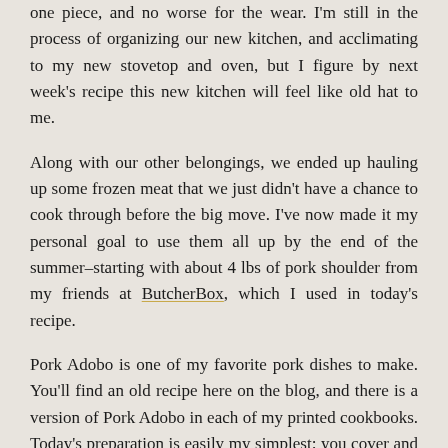one piece, and no worse for the wear. I'm still in the process of organizing our new kitchen, and acclimating to my new stovetop and oven, but I figure by next week's recipe this new kitchen will feel like old hat to me.
Along with our other belongings, we ended up hauling up some frozen meat that we just didn't have a chance to cook through before the big move. I've now made it my personal goal to use them all up by the end of the summer–starting with about 4 lbs of pork shoulder from my friends at ButcherBox, which I used in today's recipe.
Pork Adobo is one of my favorite pork dishes to make. You'll find an old recipe here on the blog, and there is a version of Pork Adobo in each of my printed cookbooks. Today's preparation is easily my simplest: you cover and roast the pork at a low temperature for an hour to keep it tender, then you uncover and roast it at a high temperature for another hour to crisp it up and reduce the sauce.
Here's a quick synopsis of the dish, from Paleo Takeout:
Adobo, often considered the national dish of the Philippines, is